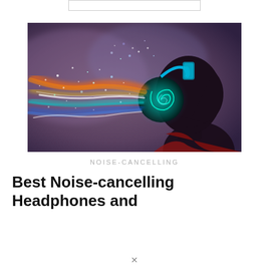[Figure (illustration): Artistic illustration of a person's silhouette in profile wearing glowing teal/cyan headphones, with colorful streaks of light (red, orange, yellow, blue, white) flowing outward from the headphones like music visualized as energy waves and particles against a purple/mauve background.]
NOISE-CANCELLING
Best Noise-cancelling Headphones and